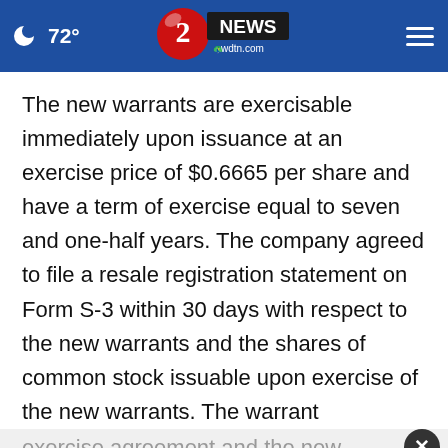72° wdtn.com 2 NEWS
The new warrants are exercisable immediately upon issuance at an exercise price of $0.6665 per share and have a term of exercise equal to seven and one-half years. The company agreed to file a resale registration statement on Form S-3 within 30 days with respect to the new warrants and the shares of common stock issuable upon exercise of the new warrants. The warrant exercise agreement and the new warrants each include at [partially visible]
[Figure (other): Advertisement overlay: Petco 'Your One-Stop Summer Pet Shop' ad with close button (X) and navigation arrow icon. Partially overlapping the article text.]